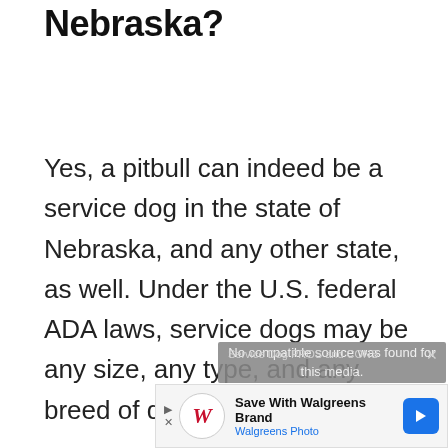Nebraska?
Yes, a pitbull can indeed be a service dog in the state of Nebraska, and any other state, as well. Under the U.S. federal ADA laws, service dogs may be any size, any type, and any breed of dog.
[Figure (screenshot): Video overlay showing 'Service Dog PROS and CONS' with message 'No compatible source was found for this media.']
[Figure (screenshot): Walgreens Brand advertisement banner with logo, 'Save With Walgreens Brand' headline, 'Walgreens Photo' subtext, and blue arrow button]